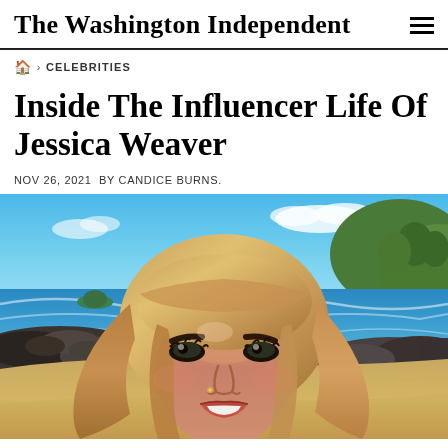The Washington Independent
🏠 › CELEBRITIES
Inside The Influencer Life Of Jessica Weaver
NOV 26, 2021  BY CANDICE BURNS.
[Figure (photo): Close-up selfie of a blonde woman (Jessica Weaver) at a beach with blue ocean, sandy shore, dark rocks, green hills, and blue sky in the background.]